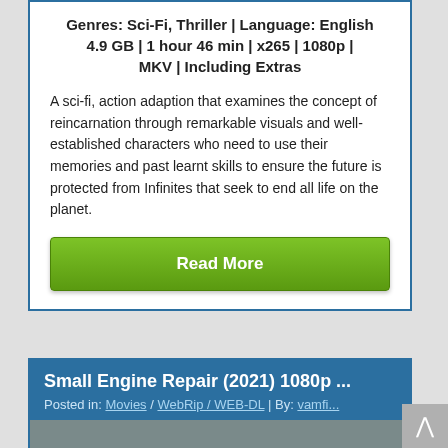Genres: Sci-Fi, Thriller | Language: English
4.9 GB | 1 hour 46 min | x265 | 1080p | MKV | Including Extras
A sci-fi, action adaption that examines the concept of reincarnation through remarkable visuals and well-established characters who need to use their memories and past learnt skills to ensure the future is protected from Infinites that seek to end all life on the planet.
Read More
Small Engine Repair (2021) 1080p ...
Posted in: Movies / WebRip / WEB-DL | By: vamfi...